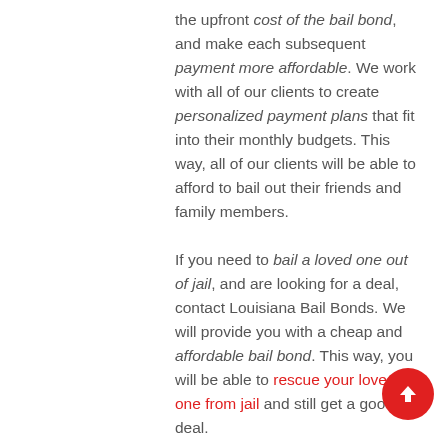the upfront cost of the bail bond, and make each subsequent payment more affordable. We work with all of our clients to create personalized payment plans that fit into their monthly budgets. This way, all of our clients will be able to afford to bail out their friends and family members.
If you need to bail a loved one out of jail, and are looking for a deal, contact Louisiana Bail Bonds. We will provide you with a cheap and affordable bail bond. This way, you will be able to rescue your loved one from jail and still get a good deal.
[Figure (other): Red circular button with white upward arrow, scroll-to-top button]